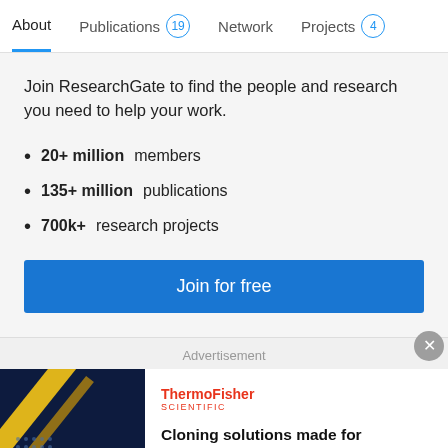About  Publications 19  Network  Projects 4
Join ResearchGate to find the people and research you need to help your work.
20+ million members
135+ million publications
700k+ research projects
Join for free
Advertisement
[Figure (screenshot): ThermoFisher Scientific advertisement banner with dark background showing cloning imagery]
Cloning solutions made for advancement